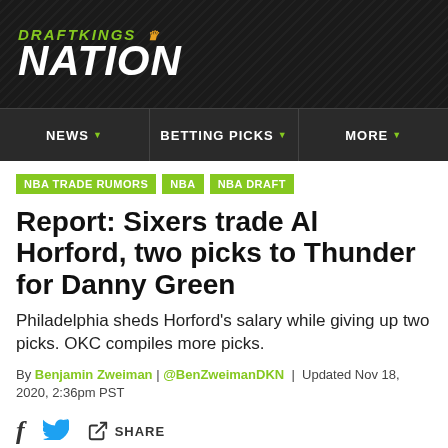[Figure (logo): DraftKings Nation logo — green italic text 'DRAFTKINGS' with crown icon, large bold italic white 'NATION' text on dark background]
NEWS | BETTING PICKS | MORE
NBA TRADE RUMORS
NBA
NBA DRAFT
Report: Sixers trade Al Horford, two picks to Thunder for Danny Green
Philadelphia sheds Horford's salary while giving up two picks. OKC compiles more picks.
By Benjamin Zweiman | @BenZweimanDKN | Updated Nov 18, 2020, 2:36pm PST